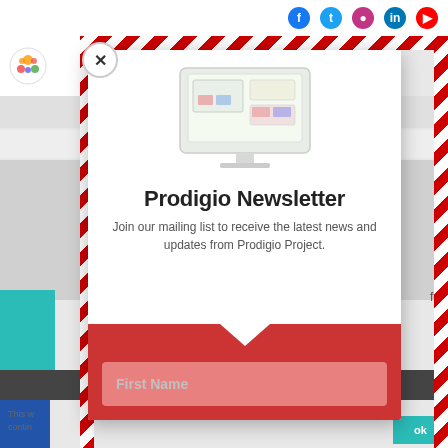[Figure (screenshot): Background webpage with social media icons (Facebook, Twitter, Instagram, LinkedIn, YouTube) in top bar, logo area, navigation bar, and page content behind modal]
[Figure (screenshot): Newsletter popup modal with diagonal red-and-white striped border, close button (X), monitor illustration, newsletter signup heading and subtext, and First Name input field on red background]
Prodigio Newsletter
Join our mailing list to receive the latest news and updates from Prodigio Project.
First Name